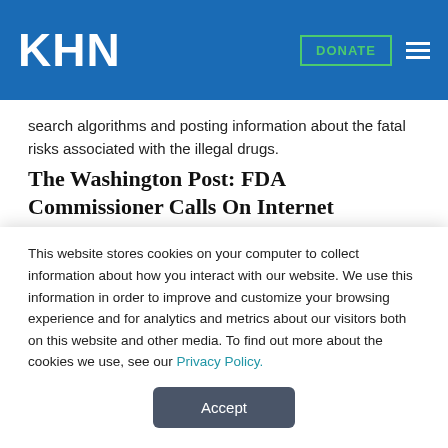KHN
search algorithms and posting information about the fatal risks associated with the illegal drugs.
The Washington Post: FDA Commissioner Calls On Internet Providers To Help Police Opioid Offerings
The head of the Food and Drug Administration on Wednesday called on Internet providers to help rid the Web of illegal offers of prescription opioids and illicit drugs such as fentanyl that
This website stores cookies on your computer to collect information about how you interact with our website. We use this information in order to improve and customize your browsing experience and for analytics and metrics about our visitors both on this website and other media. To find out more about the cookies we use, see our Privacy Policy.